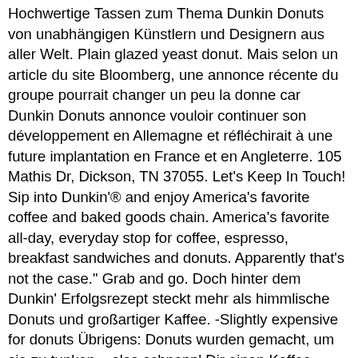Hochwertige Tassen zum Thema Dunkin Donuts von unabhängigen Künstlern und Designern aus aller Welt. Plain glazed yeast donut. Mais selon un article du site Bloomberg, une annonce récente du groupe pourrait changer un peu la donne car Dunkin Donuts annonce vouloir continuer son développement en Allemagne et réfléchirait à une future implantation en France et en Angleterre. 105 Mathis Dr, Dickson, TN 37055. Let's Keep In Touch! Sip into Dunkin'® and enjoy America's favorite coffee and baked goods chain. America's favorite all-day, everyday stop for coffee, espresso, breakfast sandwiches and donuts. Apparently that's not the case." Grab and go. Doch hinter dem Dunkin' Erfolgsrezept steckt mehr als himmlische Donuts und großartiger Kaffee. -Slightly expensive for donuts Übrigens: Donuts wurden gemacht, um sie zu tunken – also schnapp' Dir einen Kaffee, solange Du hier bist! Details. Register a DD Card. Mit himmlischen Donuts und Bagels, erstklassigem Kaffee und vielem mehr. Open now 05:00 - 19:00 +1 903-706-5187. The new Dunkin' restaurant in Paris will be opening on Tuesday. 3,247 likes. Auto Services. Dunkin Donuts. Dunkin' Donuts is opening in Paris and the owner said it should be open by summer. C'est dans cette ville qu'il existe sûrement le plus de vendeurs et de magasins de cette marque. 20.5k Followers, 680 Following, 902 Posts - See Instagram photos and videos from Dunkin' Donuts Deutschland